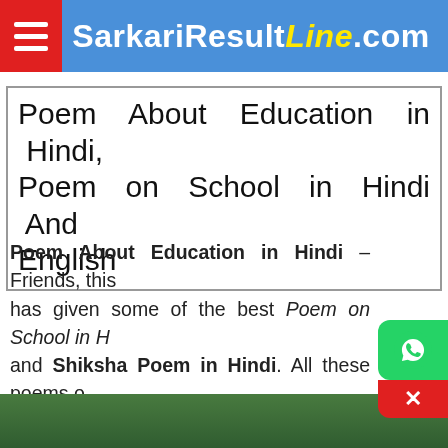SarkariResultLine.com
Poem About Education in Hindi, Poem on School in Hindi And English
Poem About Education in Hindi – Friends, this has given some of the best Poem on School in Hindi and Shiksha Poem in Hindi. All these poems on importance of education have been written by our great Hindi poets. All these poems will also be helpful for the students studying in our school. Because in schools, students are asked to write in Poem About Education in Hindi and Poem on School in Hindi.
[Figure (photo): Green-tinted classroom chalkboard photo strip at bottom of page]